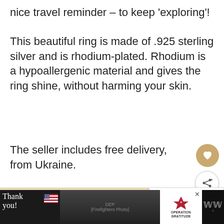nice travel reminder – to keep 'exploring'!
This beautiful ring is made of .925 sterling silver and is rhodium-plated. Rhodium is a hypoallergenic material and gives the ring shine, without harming your skin.
The seller includes free delivery, from Ukraine.
Click to view Airplane ring and more on Velanti
[Figure (screenshot): Advertisement bar at the bottom with 'Thank you' handwriting, American flag, firefighters photo, Operation Gratitude logo, and WW weather logo]